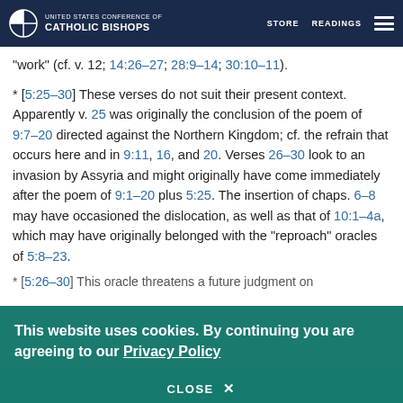UNITED STATES CONFERENCE OF CATHOLIC BISHOPS | STORE | READINGS
“work” (cf. v. 12; 14:26−27; 28:9−14; 30:10−11).
* [5:25−30] These verses do not suit their present context. Apparently v. 25 was originally the conclusion of the poem of 9:7−20 directed against the Northern Kingdom; cf. the refrain that occurs here and in 9:11, 16, and 20. Verses 26−30 look to an invasion by Assyria and might originally have come immediately after the poem of 9:1−20 plus 5:25. The insertion of chaps. 6−8 may have occasioned the dislocation, as well as that of 10:1−4a, which may have originally belonged with the “reproach” oracles of 5:8−23.
* [5:26−30] This oracle threatens a future judgment on
This website uses cookies. By continuing you are agreeing to our Privacy Policy
CLOSE ×